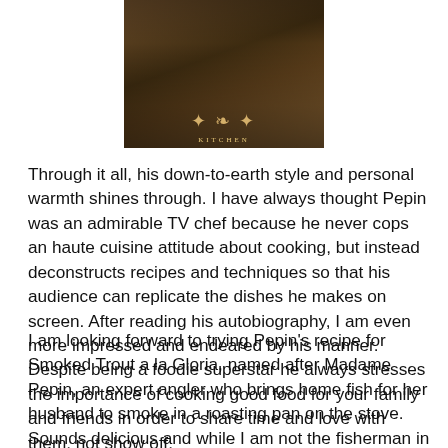[Figure (photo): Book cover image showing a dark brown/sepia toned photo of a person in a kitchen or culinary setting, with ornamental gold design element in the center]
Through it all, his down-to-earth style and personal warmth shines through. I have always thought Pepin was an admirable TV chef because he never cops an haute cuisine attitude about cooking, but instead deconstructs recipes and techniques so that his audience can replicate the dishes he makes on screen. After reading his autobiography, I am even more impressed and endeared by his manner. Despite being a foodie superstar he always stresses the importance of cooking good food for your family and friends in order to share time and love with them, not show off.
I am looking forward to trying Pepin's recipe for Smoked Trout a la Gloria, named after Madame Pepin, an expert angler who brings home fish for her husband to smoke in a roasting pan on the stove. Sounds delicious and while I am not the fisherman in the family, I am willing to smoke up the trout that Dan loves to catch.